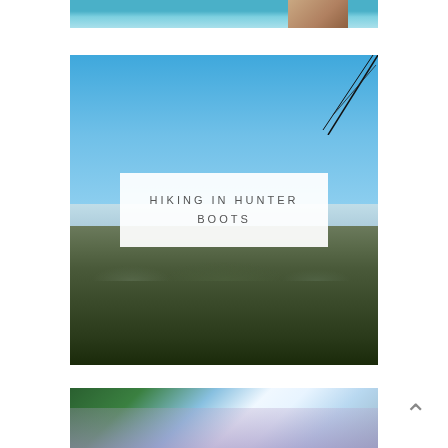[Figure (photo): Top portion of a photo showing two people in blue/teal tops, cropped at the top of the page]
[Figure (photo): Panoramic landscape photo taken from a mountain summit showing a wide valley/forest below and clear blue sky above, with power lines or antennae visible in upper right corner]
HIKING IN HUNTER BOOTS
[Figure (photo): Bottom portion of a photo showing trees and what appears to be purple/lavender flowers with bright sunlight, partially cropped]